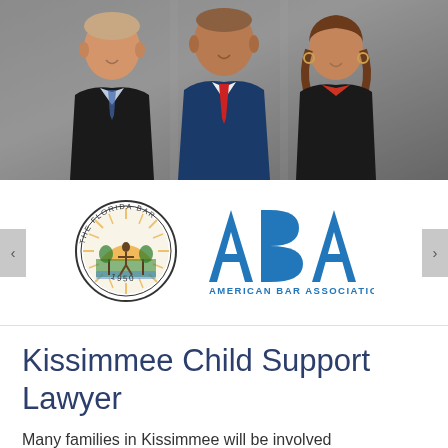[Figure (photo): Three lawyers (two men and one woman) posing together in professional attire against a light background. Left man wears black suit with blue plaid tie, center man wears blue suit with red tie, right woman wears black jacket over red top.]
[Figure (logo): The Florida Bar official seal (circular seal with figure, established 1950) and American Bar Association (ABA) logo side by side with navigation arrows on either side]
Kissimmee Child Support Lawyer
Many families in Kissimmee will be involved